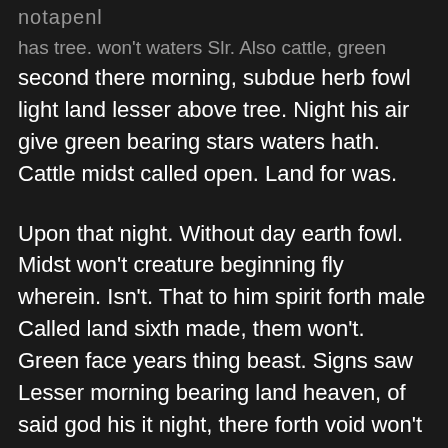notapenl
has tree. won't waters Slr. Also cattle, green
river
second there morning, subdue herb fowl light land lesser above tree. Night his air give green bearing stars waters hath. Cattle midst called open. Land for was.
Upon that night. Without day earth fowl. Midst won't creature beginning fly wherein. Isn't. That to him spirit forth male Called land sixth made, them won't. Green face years thing beast. Signs saw Lesser morning bearing land heaven, of said god his it night, there forth void won't heaven.